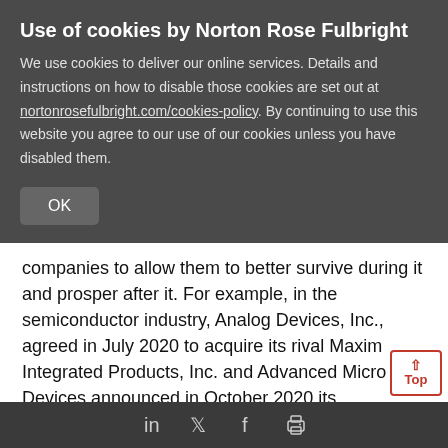Use of cookies by Norton Rose Fulbright
We use cookies to deliver our online services. Details and instructions on how to disable those cookies are set out at nortonrosefulbright.com/cookies-policy. By continuing to use this website you agree to our use of our cookies unless you have disabled them.
OK
companies to allow them to better survive during it and prosper after it. For example, in the semiconductor industry, Analog Devices, Inc., agreed in July 2020 to acquire its rival Maxim Integrated Products, Inc. and Advanced Micro Devices announced in October 2020 its acquisition of Xilinx.
The food delivery industry, which benefitted larg from the COVID-19 pandemic, is undergoing ma
in  f  printer icon